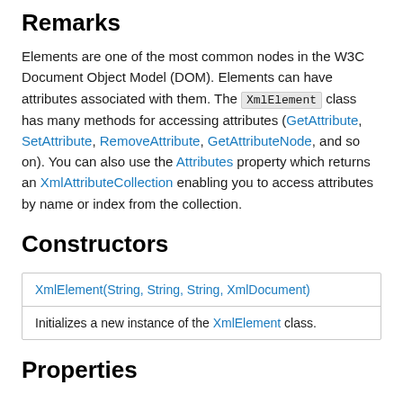Remarks
Elements are one of the most common nodes in the W3C Document Object Model (DOM). Elements can have attributes associated with them. The XmlElement class has many methods for accessing attributes (GetAttribute, SetAttribute, RemoveAttribute, GetAttributeNode, and so on). You can also use the Attributes property which returns an XmlAttributeCollection enabling you to access attributes by name or index from the collection.
Constructors
| Constructor | Description |
| --- | --- |
| XmlElement(String, String, String, XmlDocument) | Initializes a new instance of the XmlElement class. |
Properties